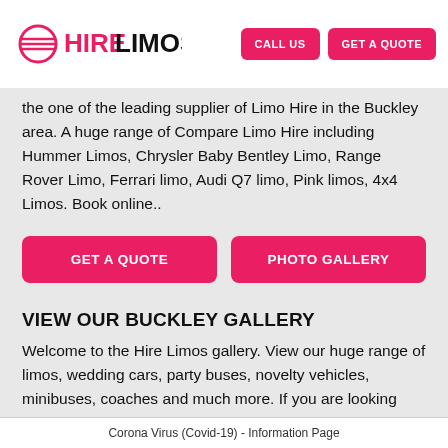HIRELIMOS.COM | CALL US | GET A QUOTE
the one of the leading supplier of Limo Hire in the Buckley area. A huge range of Compare Limo Hire including Hummer Limos, Chrysler Baby Bentley Limo, Range Rover Limo, Ferrari limo, Audi Q7 limo, Pink limos, 4x4 Limos. Book online..
GET A QUOTE | PHOTO GALLERY
VIEW OUR BUCKLEY GALLERY
Welcome to the Hire Limos gallery. View our huge range of limos, wedding cars, party buses, novelty vehicles, minibuses, coaches and much more. If you are looking
Corona Virus (Covid-19) - Information Page